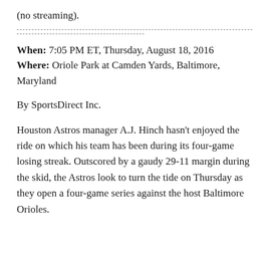(no streaming).
----------------------------------------------------------------------------------------------------------------------------------------
------------------------------------------------------
When: 7:05 PM ET, Thursday, August 18, 2016
Where: Oriole Park at Camden Yards, Baltimore, Maryland
By SportsDirect Inc.
Houston Astros manager A.J. Hinch hasn't enjoyed the ride on which his team has been during its four-game losing streak. Outscored by a gaudy 29-11 margin during the skid, the Astros look to turn the tide on Thursday as they open a four-game series against the host Baltimore Orioles.